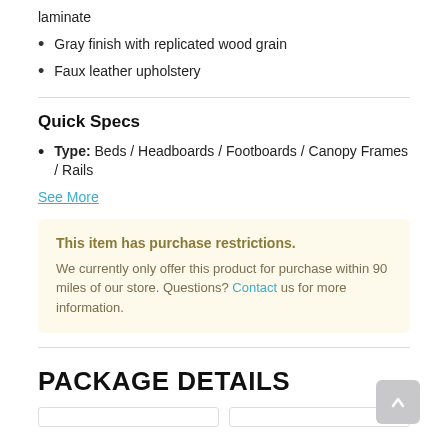laminate
Gray finish with replicated wood grain
Faux leather upholstery
Quick Specs
Type: Beds / Headboards / Footboards / Canopy Frames / Rails
See More
This item has purchase restrictions. We currently only offer this product for purchase within 90 miles of our store. Questions? Contact us for more information.
PACKAGE DETAILS